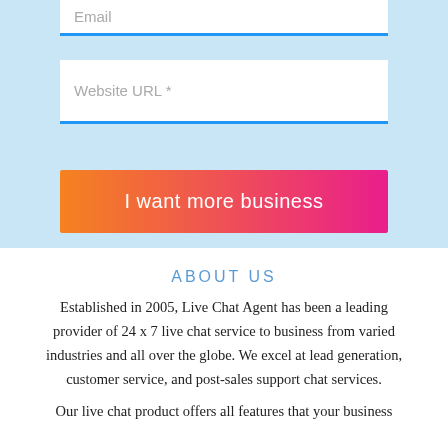Email
Website URL *
I want more business
ABOUT US
Established in 2005, Live Chat Agent has been a leading provider of 24 x 7 live chat service to business from varied industries and all over the globe. We excel at lead generation, customer service, and post-sales support chat services.
Our live chat product offers all features that your business